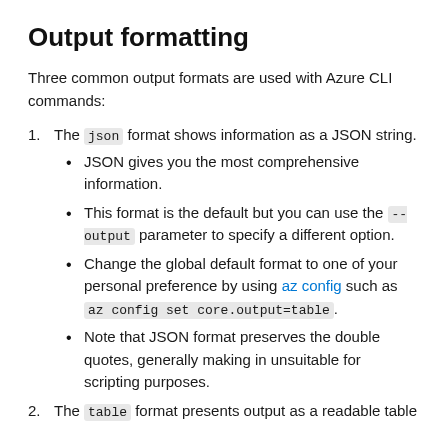Output formatting
Three common output formats are used with Azure CLI commands:
1. The json format shows information as a JSON string.
JSON gives you the most comprehensive information.
This format is the default but you can use the --output parameter to specify a different option.
Change the global default format to one of your personal preference by using az config such as az config set core.output=table.
Note that JSON format preserves the double quotes, generally making in unsuitable for scripting purposes.
2. The table format presents output as a readable table